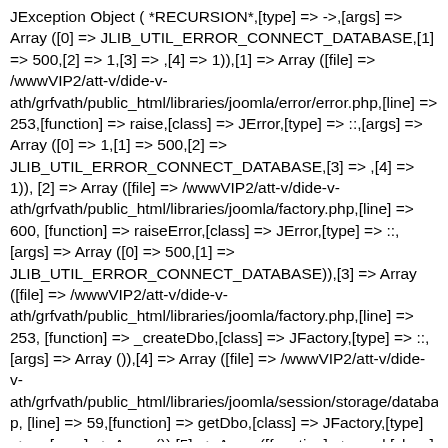JException Object ( *RECURSION*,[type] => ->,[args] => Array ([0] => JLIB_UTIL_ERROR_CONNECT_DATABASE,[1] => 500,[2] => 1,[3] => ,[4] => 1)),[1] => Array ([file] => /wwwVIP2/att-v/dide-v-ath/grfvath/public_html/libraries/joomla/error/error.php,[line] => 253,[function] => raise,[class] => JError,[type] => ::,[args] => Array ([0] => 1,[1] => 500,[2] => JLIB_UTIL_ERROR_CONNECT_DATABASE,[3] => ,[4] => 1)),[2] => Array ([file] => /wwwVIP2/att-v/dide-v-ath/grfvath/public_html/libraries/joomla/factory.php,[line] => 600,[function] => raiseError,[class] => JError,[type] => ::,[args] => Array ([0] => 500,[1] => JLIB_UTIL_ERROR_CONNECT_DATABASE)),[3] => Array ([file] => /wwwVIP2/att-v/dide-v-ath/grfvath/public_html/libraries/joomla/factory.php,[line] => 253,[function] => _createDbo,[class] => JFactory,[type] => ::,[args] => Array ()),[4] => Array ([file] => /wwwVIP2/att-v/dide-v-ath/grfvath/public_html/libraries/joomla/session/storage/database.php,[line] => 59,[function] => getDbo,[class] => JFactory,[type] => ::,[args] => Array ()),[5] => Array ([function] => read,[class] => JSessionStorageDatabase,[object] => JSessionStorageDatabase Object ([] => ,[] => Array ()),[type] => ->,[args] => Array ([0] => 0t7hp3bv57bpvfc1hsccv4s0d5)),[6] => Array ([file] => /wwwVIP2/att-v/dide-v-ath/grfvath/public_html/libraries/joomla/session/session.php,[line]